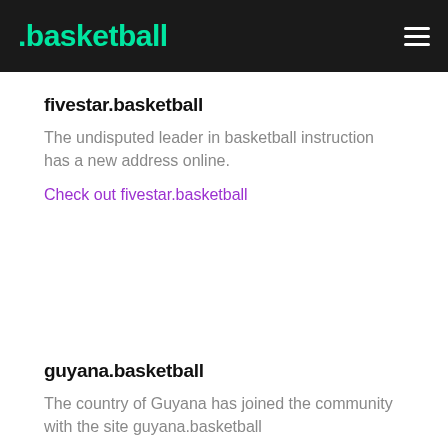.basketball
fivestar.basketball
The undisputed leader in basketball instruction has a new address online.
Check out fivestar.basketball
guyana.basketball
The country of Guyana has joined the community with the site guyana.basketball